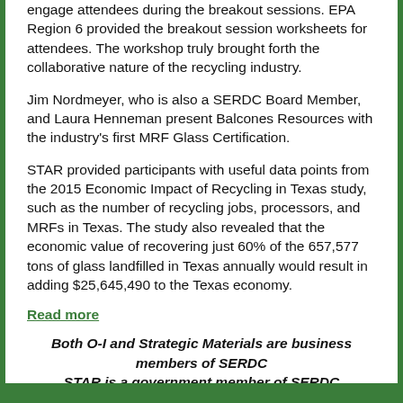engage attendees during the breakout sessions. EPA Region 6 provided the breakout session worksheets for attendees. The workshop truly brought forth the collaborative nature of the recycling industry.
Jim Nordmeyer, who is also a SERDC Board Member, and Laura Henneman present Balcones Resources with the industry's first MRF Glass Certification.
STAR provided participants with useful data points from the 2015 Economic Impact of Recycling in Texas study, such as the number of recycling jobs, processors, and MRFs in Texas. The study also revealed that the economic value of recovering just 60% of the 657,577 tons of glass landfilled in Texas annually would result in adding $25,645,490 to the Texas economy.
Read more
Both O-I and Strategic Materials are business members of SERDC
STAR is a government member of SERDC